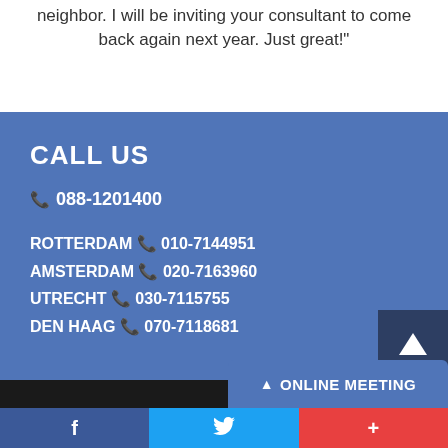neighbor. I will be inviting your consultant to come back again next year. Just great!"
CALL US
☎ 088-1201400
ROTTERDAM ☎ 010-7144951
AMSTERDAM ☎ 020-7163960
UTRECHT ☎ 030-7115755
DEN HAAG ☎ 070-7118681
▲ ONLINE MEETING
f
🐦
+